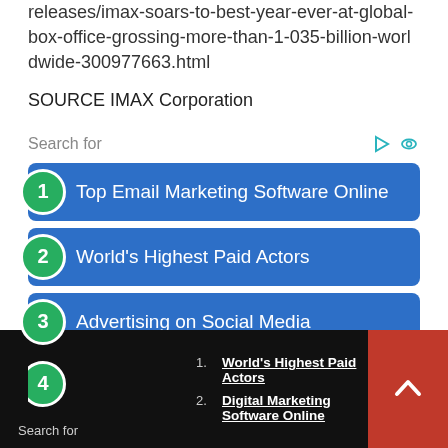releases/imax-soars-to-best-year-ever-at-global-box-office-grossing-more-than-1-035-billion-worldwide-300977663.html
SOURCE IMAX Corporation
Search for
1 Top Email Marketing Software Online
2 World's Highest Paid Actors
3 Advertising on Social Media
4 Top Rated Email Marketing Software
Search for
1. World's Highest Paid Actors
2. Digital Marketing Software Online